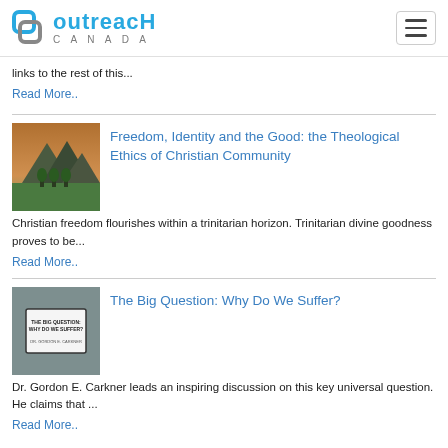Outreach Canada
links to the rest of this...
Read More..
[Figure (photo): Mountain landscape with trees at dusk]
Freedom, Identity and the Good: the Theological Ethics of Christian Community
Christian freedom flourishes within a trinitarian horizon. Trinitarian divine goodness proves to be...
Read More..
[Figure (photo): Book cover: The Big Question: Why Do We Suffer?]
The Big Question: Why Do We Suffer?
Dr. Gordon E. Carkner leads an inspiring discussion on this key universal question. He claims that ...
Read More..